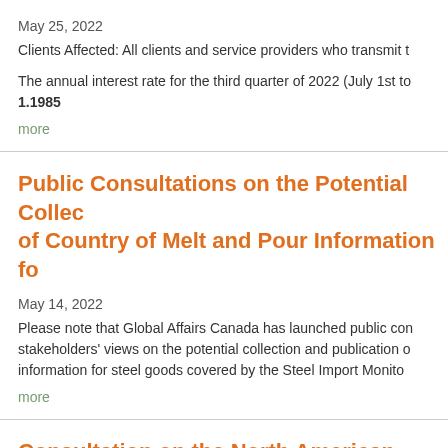May 25, 2022
Clients Affected: All clients and service providers who transmit t
The annual interest rate for the third quarter of 2022 (July 1st to... 1.1985
more
Public Consultations on the Potential Collection of Country of Melt and Pour Information fo
May 14, 2022
Please note that Global Affairs Canada has launched public consultations to gather stakeholders' views on the potential collection and publication of country of melt and pour information for steel goods covered by the Steel Import Monitor
more
Consultation on the North American Plant P